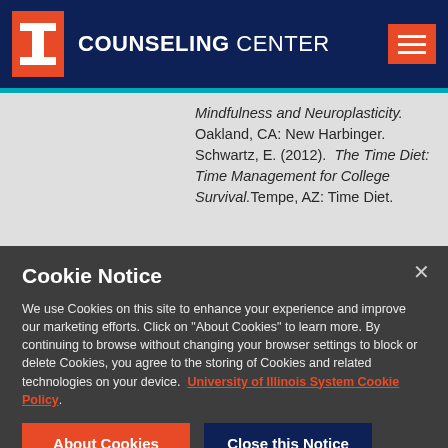I COUNSELING CENTER
Mindfulness and Neuroplasticity. Oakland, CA: New Harbinger.

Schwartz, E. (2012). The Time Diet: Time Management for College Survival. Tempe, AZ: Time Diet.
Cookie Notice
We use Cookies on this site to enhance your experience and improve our marketing efforts. Click on "About Cookies" to learn more. By continuing to browse without changing your browser settings to block or delete Cookies, you agree to the storing of Cookies and related technologies on your device.  University of Illinois System Cookie Policy.
About Cookies
Close this Notice